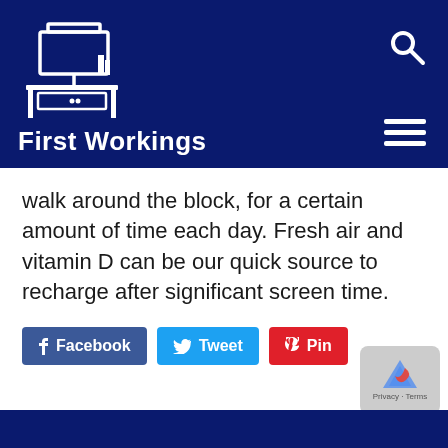[Figure (logo): First Workings website header with desk/computer logo icon and site name 'First Workings' on dark navy background, with search icon and hamburger menu]
walk around the block, for a certain amount of time each day. Fresh air and vitamin D can be our quick source to recharge after significant screen time.
[Figure (other): Social sharing buttons: Facebook (blue), Tweet (cyan), Pin (red)]